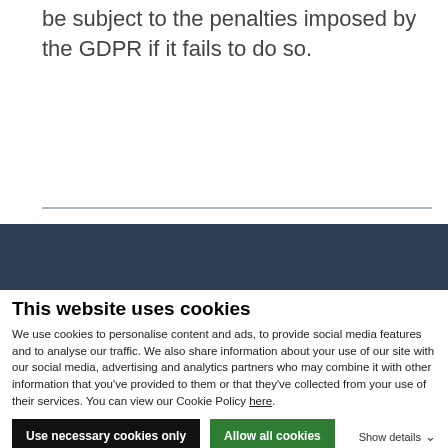be subject to the penalties imposed by the GDPR if it fails to do so.
This website uses cookies
We use cookies to personalise content and ads, to provide social media features and to analyse our traffic. We also share information about your use of our site with our social media, advertising and analytics partners who may combine it with other information that you've provided to them or that they've collected from your use of their services. You can view our Cookie Policy here.
Use necessary cookies only
Allow all cookies
Show details